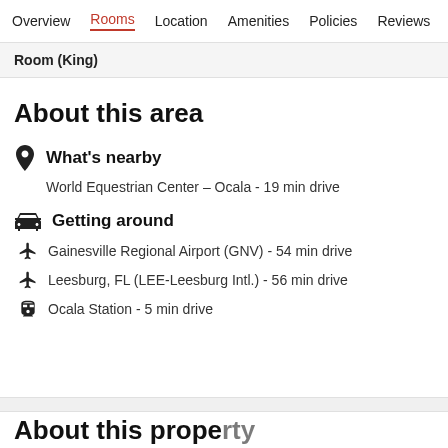Overview  Rooms  Location  Amenities  Policies  Reviews
Room (King)
About this area
What's nearby
World Equestrian Center – Ocala - 19 min drive
Getting around
Gainesville Regional Airport (GNV) - 54 min drive
Leesburg, FL (LEE-Leesburg Intl.) - 56 min drive
Ocala Station - 5 min drive
About this property